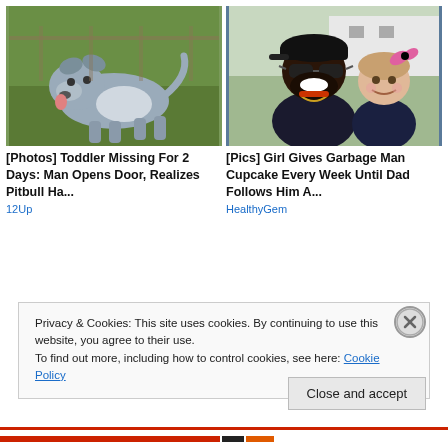[Figure (photo): Photo of a grey and white pitbull dog standing on grass outdoors]
[Figure (photo): Photo of a smiling man with sunglasses and beard wearing a black cap, with a young girl with a pink bow]
[Photos] Toddler Missing For 2 Days: Man Opens Door, Realizes Pitbull Ha...
12Up
[Pics] Girl Gives Garbage Man Cupcake Every Week Until Dad Follows Him A...
HealthyGem
Privacy & Cookies: This site uses cookies. By continuing to use this website, you agree to their use.
To find out more, including how to control cookies, see here: Cookie Policy
Close and accept